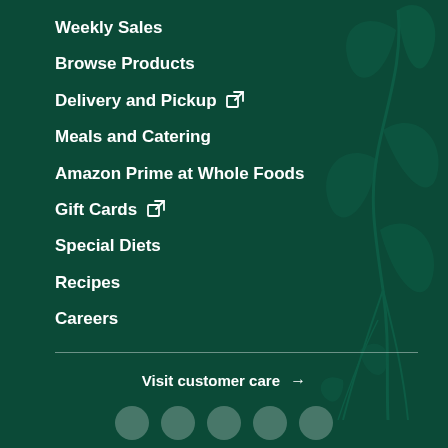Weekly Sales
Browse Products
Delivery and Pickup ↗
Meals and Catering
Amazon Prime at Whole Foods
Gift Cards ↗
Special Diets
Recipes
Careers
Visit customer care →
[Figure (illustration): Decorative plant/vegetable illustration in dark green on the right side of the page]